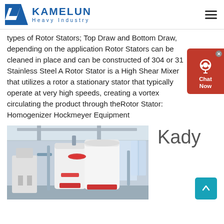KAMELUN Heavy Industry
types of Rotor Stators; Top Draw and Bottom Draw, depending on the application Rotor Stators can be cleaned in place and can be constructed of 304 or 316 Stainless Steel A Rotor Stator is a High Shear Mixer that utilizes a rotor a stationary stator that typically operate at very high speeds, creating a vortex circulating the product through theRotor Stator: Homogenizer Hockmeyer Equipment
[Figure (photo): Industrial milling or grinding machines in a large factory warehouse, white cylindrical equipment with red accents]
Kady